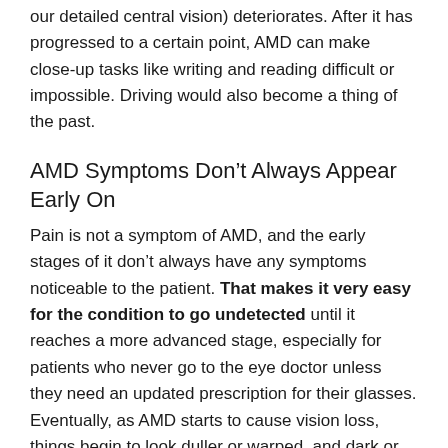our detailed central vision) deteriorates. After it has progressed to a certain point, AMD can make close-up tasks like writing and reading difficult or impossible. Driving would also become a thing of the past.
AMD Symptoms Don’t Always Appear Early On
Pain is not a symptom of AMD, and the early stages of it don’t always have any symptoms noticeable to the patient. That makes it very easy for the condition to go undetected until it reaches a more advanced stage, especially for patients who never go to the eye doctor unless they need an updated prescription for their glasses. Eventually, as AMD starts to cause vision loss, things begin to look duller or warped, and dark or blurry patches develop in the central vision.
Risk Factors for AMD
The biggest risk factor for age-related macular degeneration is right in the name: age. Like race and